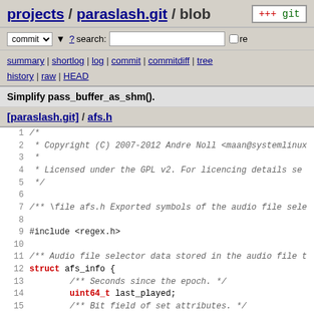projects / paraslash.git / blob
commit ? search: re
summary | shortlog | log | commit | commitdiff | tree history | raw | HEAD
Simplify pass_buffer_as_shm().
[paraslash.git] / afs.h
[Figure (screenshot): Source code view of afs.h showing lines 1-19 with C code including copyright comment, GPL license notice, #include <regex.h>, and struct afs_info definition with fields last_played, attributes, num_played]